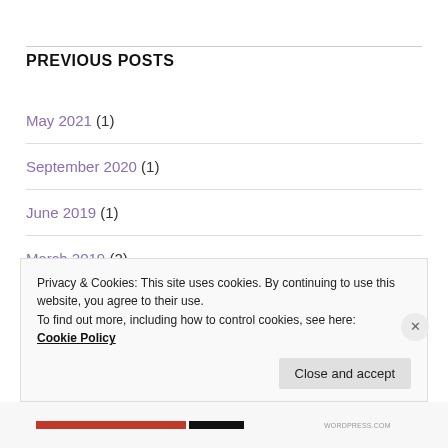PREVIOUS POSTS
May 2021 (1)
September 2020 (1)
June 2019 (1)
March 2019 (2)
Privacy & Cookies: This site uses cookies. By continuing to use this website, you agree to their use.
To find out more, including how to control cookies, see here:
Cookie Policy
Close and accept